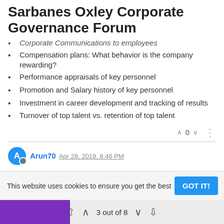Sarbanes Oxley Corporate Governance Forum
Corporate Communications to employees
Compensation plans: What behavior is the company rewarding?
Performance appraisals of key personnel
Promotion and Salary history of key personnel
Investment in career development and tracking of results
Turnover of top talent vs. retention of top talent
Arun70 Apr 28, 2019, 8:46 PM
Tone at the top can also be demonstrated by way of the following:
Ethics policies and Processes
Management Representation Letters
Financial Planning and Outlook process
This website uses cookies to ensure you get the best
3 out of 8